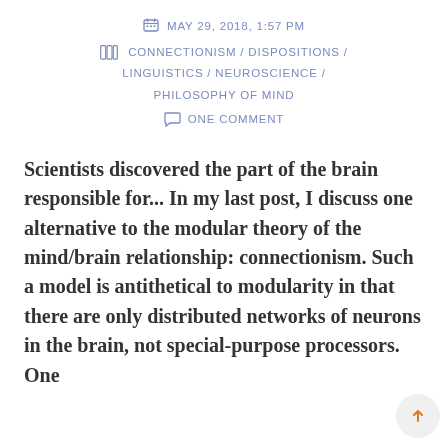MAY 29, 2018, 1:57 PM
CONNECTIONISM / DISPOSITIONS / LINGUISTICS / NEUROSCIENCE / PHILOSOPHY OF MIND
ONE COMMENT
Scientists discovered the part of the brain responsible for... In my last post, I discuss one alternative to the modular theory of the mind/brain relationship: connectionism. Such a model is antithetical to modularity in that there are only distributed networks of neurons in the brain, not special-purpose processors. One